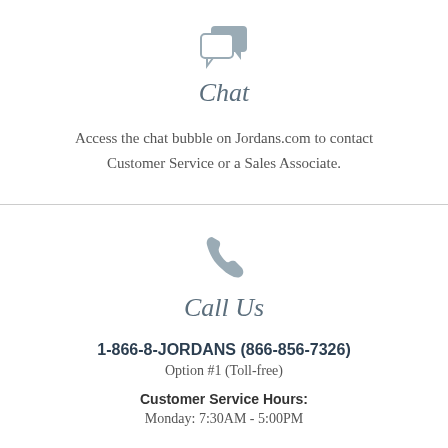[Figure (illustration): Chat bubble icon, two overlapping speech bubbles in gray]
Chat
Access the chat bubble on Jordans.com to contact Customer Service or a Sales Associate.
[Figure (illustration): Phone handset icon in gray]
Call Us
1-866-8-JORDANS (866-856-7326)
Option #1 (Toll-free)
Customer Service Hours:
Monday: 7:30AM - 5:00PM